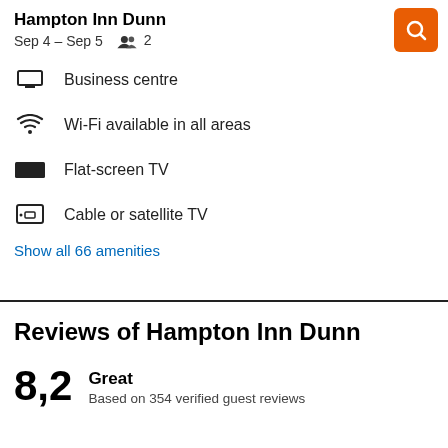Hampton Inn Dunn
Sep 4 – Sep 5    2
Business centre
Wi-Fi available in all areas
Flat-screen TV
Cable or satellite TV
Show all 66 amenities
Reviews of Hampton Inn Dunn
8,2
Great
Based on 354 verified guest reviews